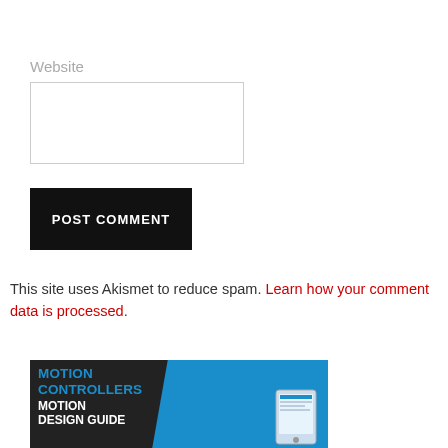Website
[Figure (screenshot): Empty website input text field with light gray border]
[Figure (screenshot): Black POST COMMENT submit button]
This site uses Akismet to reduce spam. Learn how your comment data is processed.
[Figure (infographic): Motion Controllers Motion Design Guide banner advertisement with blue and dark gray background and tablet device image]